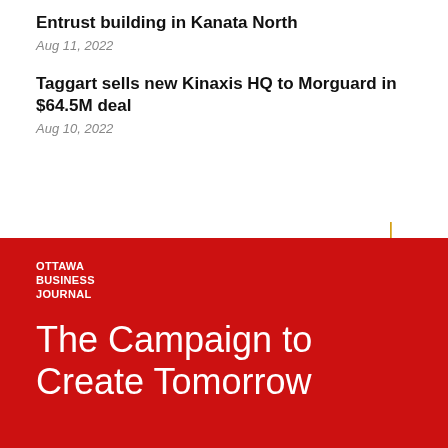Entrust building in Kanata North
Aug 11, 2022
Taggart sells new Kinaxis HQ to Morguard in $64.5M deal
Aug 10, 2022
[Figure (illustration): Gold corner bracket decorative element]
[Figure (logo): Ottawa Business Journal logo on red background]
The Campaign to Create Tomorrow